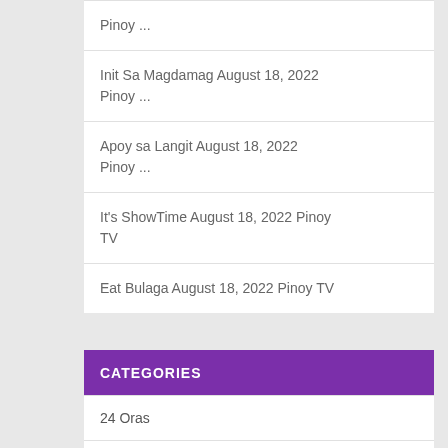Pinoy ...
Init Sa Magdamag August 18, 2022 Pinoy ...
Apoy sa Langit August 18, 2022 Pinoy ...
It's ShowTime August 18, 2022 Pinoy TV
Eat Bulaga August 18, 2022 Pinoy TV
CATEGORIES
24 Oras
ABS-CBN